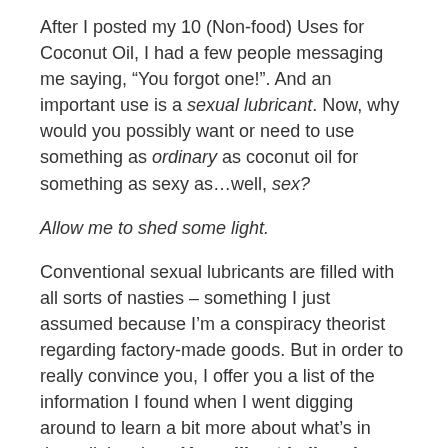After I posted my 10 (Non-food) Uses for Coconut Oil, I had a few people messaging me saying, “You forgot one!”. And an important use is a sexual lubricant. Now, why would you possibly want or need to use something as ordinary as coconut oil for something as sexy as…well, sex?
Allow me to shed some light.
Conventional sexual lubricants are filled with all sorts of nasties – something I just assumed because I’m a conspiracy theorist regarding factory-made goods. But in order to really convince you, I offer you a list of the information I found when I went digging around to learn a bit more about what’s in those little tubes. You will not believe how toxic those lubricants are!
Take a look at how the average sexual lubricant that you buy at your drug store can harm your body:
1. Decreased Fertility. Sexual lubricants decrease sperm